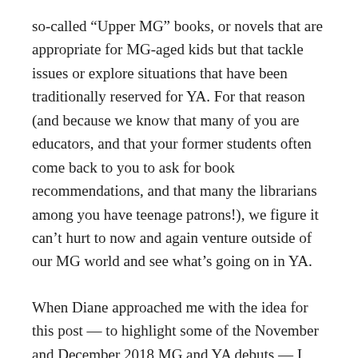so-called “Upper MG” books, or novels that are appropriate for MG-aged kids but that tackle issues or explore situations that have been traditionally reserved for YA. For that reason (and because we know that many of you are educators, and that your former students often come back to you to ask for book recommendations, and that many the librarians among you have teenage patrons!), we figure it can’t hurt to now and again venture outside of our MG world and see what’s going on in YA.
When Diane approached me with the idea for this post — to highlight some of the November and December 2018 MG and YA debuts — I was excited, because it helps accomplish a number of our goals at once. It also recognizes that the si…